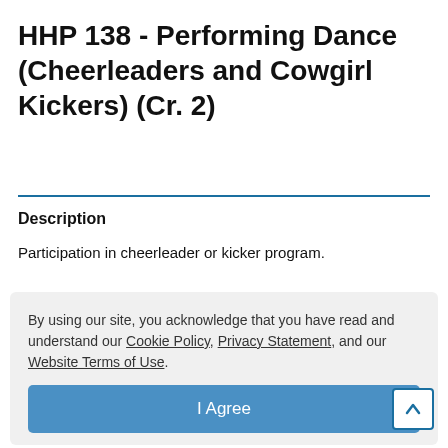HHP 138 - Performing Dance (Cheerleaders and Cowgirl Kickers) (Cr. 2)
Description
Participation in cheerleader or kicker program.
Notes
May not enroll in more than one varsity sport per semester.
May be repeated for credit. Credits for this course may not be applied toward a degree.
Prerequisites / Corequisites